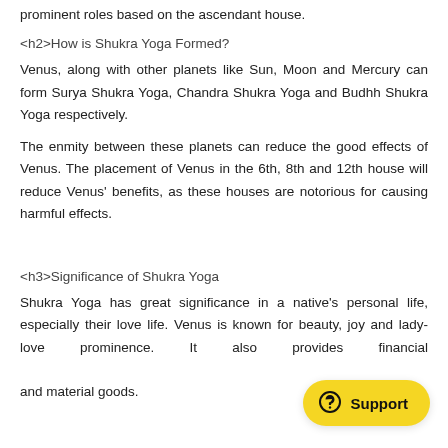prominent roles based on the ascendant house.
<h2>How is Shukra Yoga Formed?
Venus, along with other planets like Sun, Moon and Mercury can form Surya Shukra Yoga, Chandra Shukra Yoga and Budhh Shukra Yoga respectively.
The enmity between these planets can reduce the good effects of Venus. The placement of Venus in the 6th, 8th and 12th house will reduce Venus' benefits, as these houses are notorious for causing harmful effects.
<h3>Significance of Shukra Yoga
Shukra Yoga has great significance in a native's personal life, especially their love life. Venus is known for beauty, joy and lady-love prominence. It also provides financial and material goods.